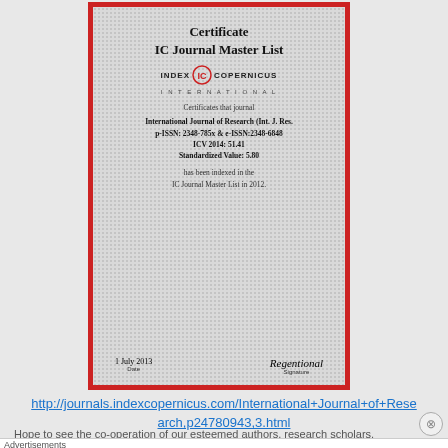[Figure (illustration): Index Copernicus International Certificate for IC Journal Master List showing International Journal of Research (Int. J. Res.) with p-ISSN: 2348-785x & e-ISSN: 2348-6848, ICV 2014: 51.41, Standardized Value: 5.80, indexed in 2012, dated 1 July 2013]
http://journals.indexcopernicus.com/International+Journal+of+Research,p24780943,3.html
Hope to see the co-operation of our esteemed authors, research scholars, professors and others and join us in future tense.
Advertisements